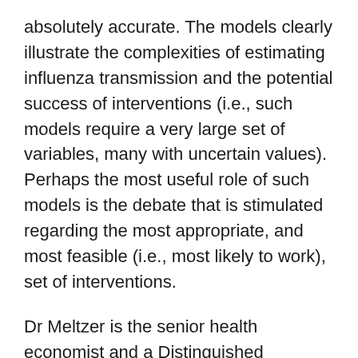absolutely accurate. The models clearly illustrate the complexities of estimating influenza transmission and the potential success of interventions (i.e., such models require a very large set of variables, many with uncertain values). Perhaps the most useful role of such models is the debate that is stimulated regarding the most appropriate, and most feasible (i.e., most likely to work), set of interventions.
Dr Meltzer is the senior health economist and a Distinguished Consultant at the Centers for Disease Control and Prevention in Atlanta, Georgia, and an associate editor for Emerging Infectious Diseases. His research interests include modeling of potential responses to smallpox as a bioterrorist weapon, examining the economics of vaccinating restaurant foodhandlers against hepatitis A, assessing the economic impact of pandemic influenza, and